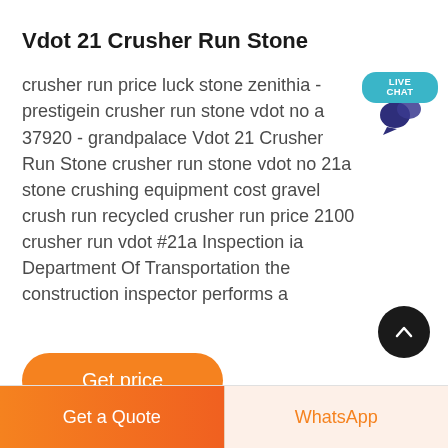Vdot 21 Crusher Run Stone
crusher run price luck stone zenithia - prestigein crusher run stone vdot no a 37920 - grandpalace Vdot 21 Crusher Run Stone crusher run stone vdot no 21a stone crushing equipment cost gravel crush run recycled crusher run price 2100 crusher run vdot #21a Inspection ia Department Of Transportation the construction inspector performs a
[Figure (other): Live Chat badge with teal speech bubble and dark blue chat icon]
[Figure (other): Orange rounded 'Get price' button]
[Figure (other): Black circular scroll-to-top button with upward chevron arrow]
[Figure (other): Orange side tab on left edge]
[Figure (other): Bottom bar with 'Get a Quote' orange button and 'WhatsApp' button]